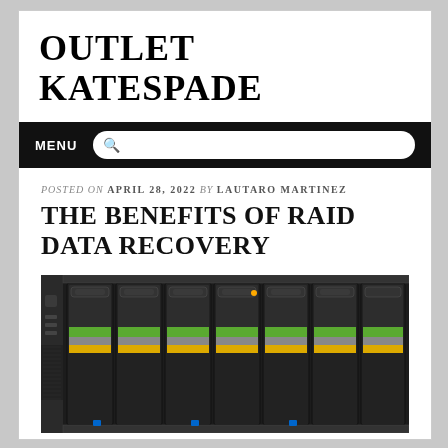OUTLET KATESPADE
MENU
POSTED ON APRIL 28, 2022 BY LAUTARO MARTINEZ
THE BENEFITS OF RAID DATA RECOVERY
[Figure (photo): Close-up photo of RAID hard drive array in a server chassis, showing multiple black drive sleds with green and yellow stripe labels inserted into a rack-mounted unit.]